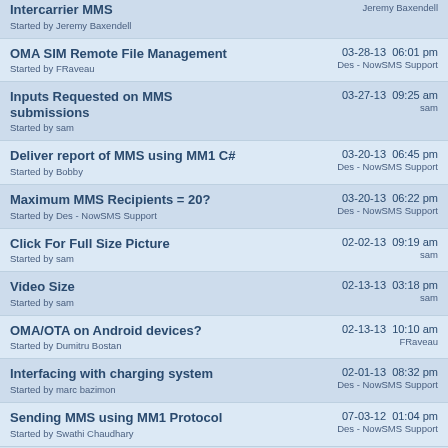Intercarrier MMS | Started by Jeremy Baxendell | Jeremy Baxendell
OMA SIM Remote File Management | Started by FRaveau | 03-28-13 06:01 pm | Des - NowSMS Support
Inputs Requested on MMS submissions | Started by sam | 03-27-13 09:25 am | sam
Deliver report of MMS using MM1 C# | Started by Bobby | 03-20-13 06:45 pm | Des - NowSMS Support
Maximum MMS Recipients = 20? | Started by Des - NowSMS Support | 03-20-13 06:22 pm | Des - NowSMS Support
Click For Full Size Picture | Started by sam | 02-02-13 09:19 am | sam
Video Size | Started by sam | 02-13-13 03:18 pm | sam
OMA/OTA on Android devices? | Started by Dumitru Bostan | 02-13-13 10:10 am | FRaveau
Interfacing with charging system | Started by marc bazimon | 02-01-13 08:32 pm | Des - NowSMS Support
Sending MMS using MM1 Protocol | Started by Swathi Chaudhary | 07-03-12 01:04 pm | Des - NowSMS Support